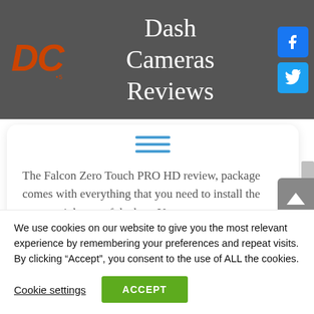Dash Cameras Reviews
[Figure (logo): DC logo in orange italic bold text]
[Figure (infographic): Facebook and Twitter social media icon buttons]
[Figure (other): Hamburger menu icon (three horizontal blue lines)]
The Falcon Zero Touch PRO HD review, package comes with everything that you need to install the camera right out of the box. You
We use cookies on our website to give you the most relevant experience by remembering your preferences and repeat visits. By clicking “Accept”, you consent to the use of ALL the cookies.
Cookie settings
ACCEPT